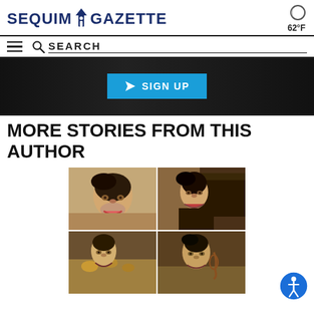SEQUIM GAZETTE  62°F
SEARCH
[Figure (screenshot): Dark banner with a blue 'SIGN UP' button with paper airplane icon]
MORE STORIES FROM THIS AUTHOR
[Figure (photo): 2x2 grid of four musicians: top-left woman with dark hair smiling, top-right woman near a piano, bottom-left man with brass instruments, bottom-right person with a violin]
[Figure (other): Accessibility/wheelchair icon button (blue circle with person icon)]